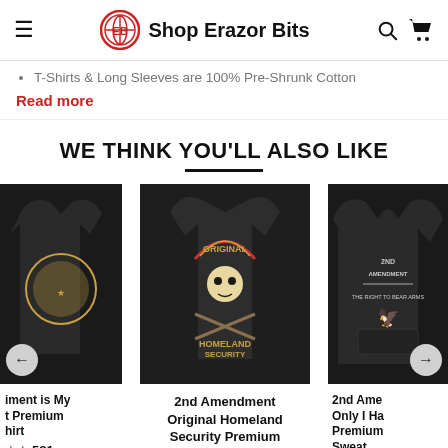Shop Erazor Bits
T-Shirts & Long Sleeves are 100% Pre-Shrunk Cotton
Read more
WE THINK YOU'LL ALSO LIKE
[Figure (photo): Black t-shirt with graphic design - partially visible on left edge]
iment is My t Premium hirt
★★ 581
[Figure (photo): Black t-shirt showing back graphic with skull in Native American headdress, text reads ORIGINAL HOMELAND SECURITY]
2nd Amendment Original Homeland Security Premium
[Figure (photo): Black hoodie sweatshirt with graphic design - partially visible on right edge, text includes 2nd Amendment]
2nd Amendment Only I Ha Premium Sweat